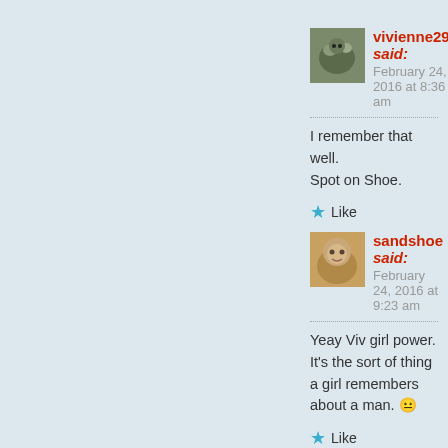[Figure (photo): Avatar photo of vivienne29 – small square image of an animal/bird]
vivienne29 said:
February 24, 2016 at 8:36 am
I remember that well. Spot on Shoe.
★ Like
REPLY
[Figure (photo): Avatar photo of sandshoe – small square portrait painting/illustration]
sandshoe said:
February 24, 2016 at 9:23 am
Yeay Viv girl power. It's the sort of thing a girl remembers about a man. 😐
★ Like